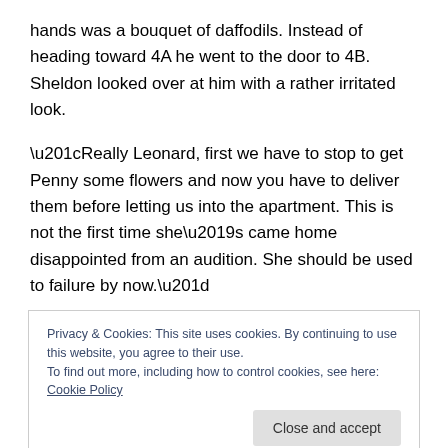hands was a bouquet of daffodils.  Instead of heading toward 4A he went to the door to 4B.  Sheldon looked over at him with a rather irritated look.
“Really Leonard, first we have to stop to get Penny some flowers and now you have to deliver them before letting us into the apartment.  This is not the first time she’s came home disappointed from an audition.  She should be used to failure by now.”
Leonard turned from the door to 4B toward his roommate.
There was a look of exasperation on his face.
Privacy & Cookies: This site uses cookies. By continuing to use this website, you agree to their use.
To find out more, including how to control cookies, see here: Cookie Policy
Close and accept